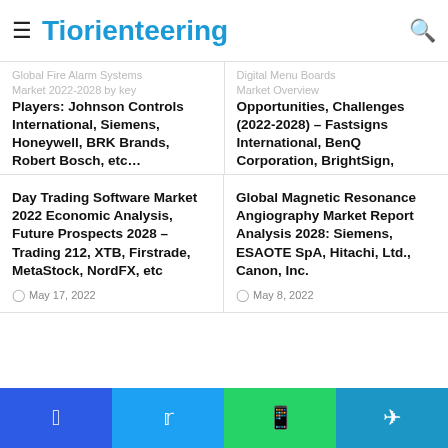Tiorienteering
Global Fire Alarm Systems Market 2022-2028 by Key Players: Johnson Controls International, Siemens, Honeywell, BRK Brands, Robert Bosch, etc…
May 14, 2022
Digital Menu Boards Market Overview Opportunities, Challenges (2022-2028) – Fastsigns International, BenQ Corporation, BrightSign, Daktronics, Coates Signco and AU Optronics
May 14, 2022
Day Trading Software Market 2022 Economic Analysis, Future Prospects 2028 – Trading 212, XTB, Firstrade, MetaStock, NordFX, etc
May 17, 2022
Global Magnetic Resonance Angiography Market Report Analysis 2028: Siemens, ESAOTE SpA, Hitachi, Ltd., Canon, Inc.
May 8, 2022
Facebook | Twitter | WhatsApp | Telegram